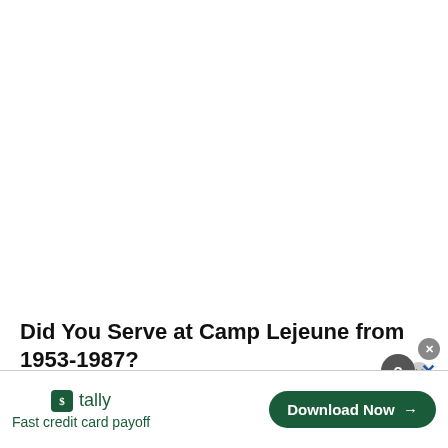Did You Serve at Camp Lejeune from 1953-1987?
[Figure (screenshot): Advertisement banner for Tally app — Fast credit card payoff — with a Download Now button. Overlay close/help icons visible.]